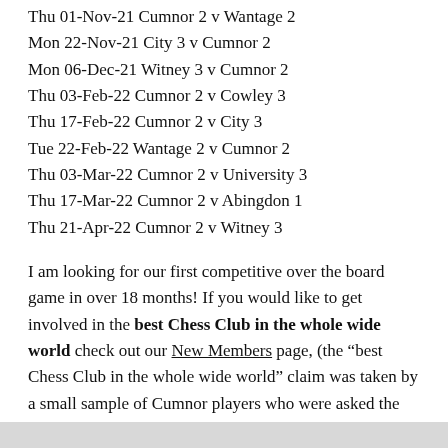Thu 01-Nov-21 Cumnor 2 v Wantage 2
Mon 22-Nov-21 City 3 v Cumnor 2
Mon 06-Dec-21 Witney 3 v Cumnor 2
Thu 03-Feb-22 Cumnor 2 v Cowley 3
Thu 17-Feb-22 Cumnor 2 v City 3
Tue 22-Feb-22 Wantage 2 v Cumnor 2
Thu 03-Mar-22 Cumnor 2 v University 3
Thu 17-Mar-22 Cumnor 2 v Abingdon 1
Thu 21-Apr-22 Cumnor 2 v Witney 3
I am looking for our first competitive over the board game in over 18 months! If you would like to get involved in the best Chess Club in the whole wide world check out our New Members page, (the “best Chess Club in the whole wide world” claim was taken by a small sample of Cumnor players who were asked the question).